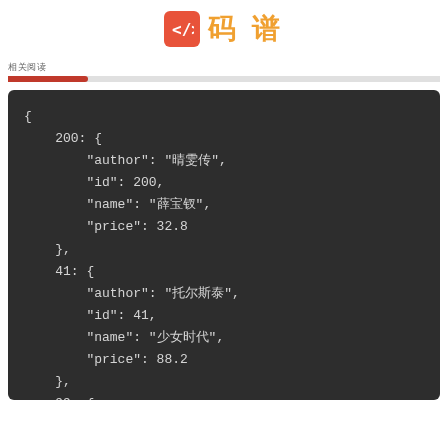码谱
相关阅读
[Figure (screenshot): Dark-themed code block showing a JSON/dictionary structure with entries for keys 200, 41, and 99, each containing author, id, name, and price fields.]